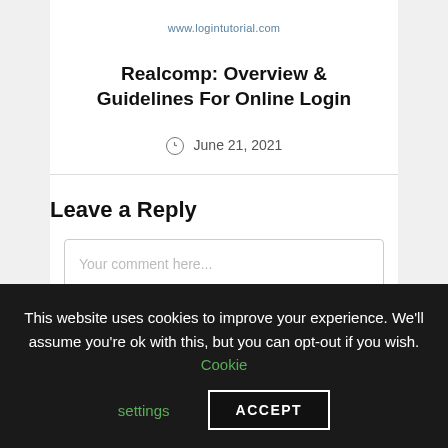www.logintutorial.com
Realcomp: Overview & Guidelines For Online Login
June 21, 2021
Leave a Reply
Your comment here...
This website uses cookies to improve your experience. We'll assume you're ok with this, but you can opt-out if you wish. Cookie settings ACCEPT